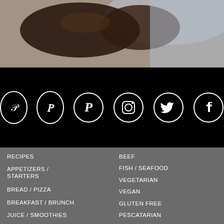[Figure (photo): Blurred close-up food photo at top of page, dark brown tones]
[Figure (infographic): Black banner with four social media icons in white circles: Pinterest, Instagram, Twitter, Facebook]
RECIPES
APPETIZERS / STARTERS
BREAD / PIZZA
BREAKFAST / BRUNCH
JUICE / SMOOTHIES
BEEF
FISH / SEAFOOD
VEGETARIAN
VEGAN
GLUTEN FREE
PESCATARIAN